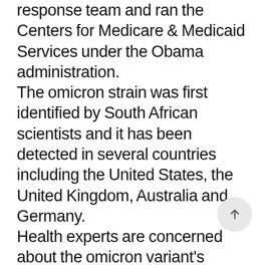response team and ran the Centers for Medicare & Medicaid Services under the Obama administration. The omicron strain was first identified by South African scientists and it has been detected in several countries including the United States, the United Kingdom, Australia and Germany. Health experts are concerned about the omicron variant's transmissibility given its unusual constellation of mutations and profile that differs from previous variants of concern. Scientists are also trying to figure out how effective current vaccines are in protecting people against any severe illness due to the new strain. "I think we have good reason to believe that the vaccines are effective, if not as effective